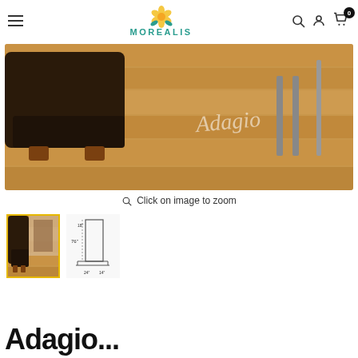MOREALIS — navigation header with hamburger menu, logo, search, account, and cart (0 items)
[Figure (photo): Product lifestyle photo showing wood-look flooring (Adagio brand) in a living room setting with dark leather sofa and metal furniture legs. The word 'Adagio' is watermarked on the image.]
Click on image to zoom
[Figure (photo): Thumbnail 1 (selected, gold border): room scene with the Adagio flooring installed]
[Figure (engineering-diagram): Thumbnail 2: dimensional line drawing of the flooring plank showing measurements: 76", 18", 24", 14"]
Adagio...